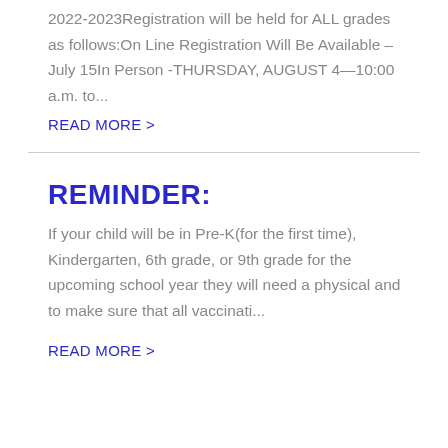2022-2023Registration will be held for ALL grades as follows:On Line Registration Will Be Available – July 15In Person -THURSDAY, AUGUST 4—10:00 a.m. to...
READ MORE >
REMINDER:
If your child will be in Pre-K(for the first time), Kindergarten, 6th grade, or 9th grade for the upcoming school year they will need a physical and to make sure that all vaccinati...
READ MORE >